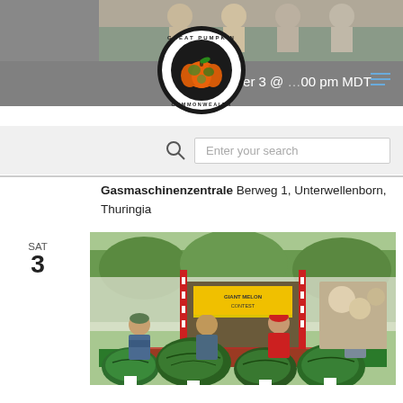[Figure (screenshot): Top banner photo strip showing people at an event]
September 3 @ 1:00 pm MDT
[Figure (logo): Great Pumpkin Commonwealth circular logo with orange pumpkin]
[Figure (screenshot): Search bar with magnifying glass icon and 'Enter your search' placeholder]
Gasmaschinenzentrale Berweg 1, Unterwellenborn, Thuringia
SAT
3
[Figure (photo): Four men posing behind large watermelons at an outdoor farmers market booth with red, white and blue decorations]
September 3 @ 11:00 am - 12:00 pm MDT
Old Washington Farmers Market